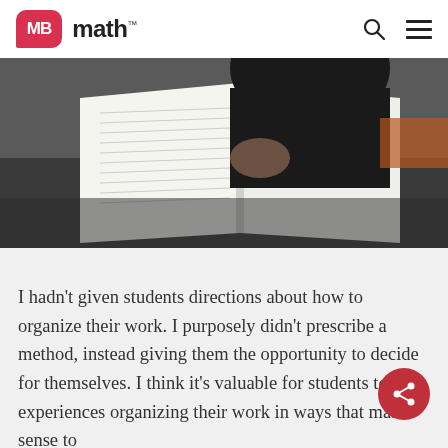MB math™
[Figure (photo): A student in a black hoodie looking down at an open textbook or workbook on a desk, viewed from above and behind.]
I hadn't given students directions about how to organize their work. I purposely didn't prescribe a method, instead giving them the opportunity to decide for themselves. I think it's valuable for students to have experiences organizing their work in ways that make sense to